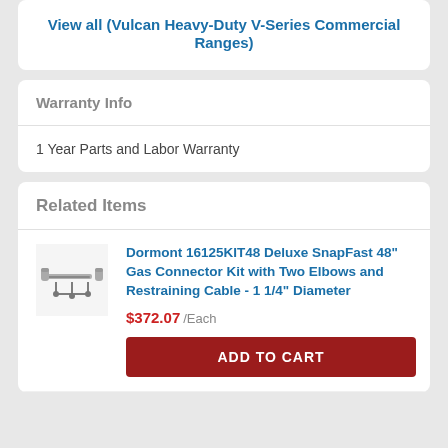View all (Vulcan Heavy-Duty V-Series Commercial Ranges)
Warranty Info
1 Year Parts and Labor Warranty
Related Items
[Figure (photo): Small product image of Dormont gas connector kit with elbows and cable]
Dormont 16125KIT48 Deluxe SnapFast 48" Gas Connector Kit with Two Elbows and Restraining Cable - 1 1/4" Diameter
$372.07 /Each
ADD TO CART